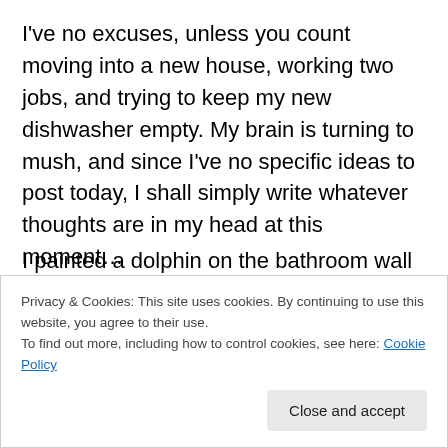I've no excuses, unless you count moving into a new house, working two jobs, and trying to keep my new dishwasher empty. My brain is turning to mush, and since I've no specific ideas to post today, I shall simply write whatever thoughts are in my head at this moment…
.....
I think I'm balding. It's kind of hard to tell, since I never had thick hair to begin with, and some people might describe me as someone sporting a fivehead, (as opposed to a forehead, but the text is cut off)
I painted a dolphin on the bathroom wall tonight. It took a (text cut off)
Privacy & Cookies: This site uses cookies. By continuing to use this website, you agree to their use.
To find out more, including how to control cookies, see here: Cookie Policy
Close and accept